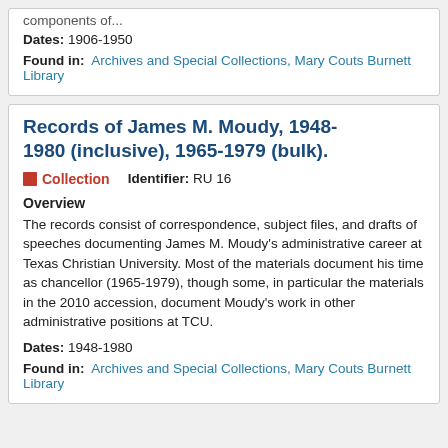components of...
Dates: 1906-1950
Found in: Archives and Special Collections, Mary Couts Burnett Library
Records of James M. Moudy, 1948-1980 (inclusive), 1965-1979 (bulk).
Collection   Identifier: RU 16
Overview
The records consist of correspondence, subject files, and drafts of speeches documenting James M. Moudy's administrative career at Texas Christian University. Most of the materials document his time as chancellor (1965-1979), though some, in particular the materials in the 2010 accession, document Moudy's work in other administrative positions at TCU.
Dates: 1948-1980
Found in: Archives and Special Collections, Mary Couts Burnett Library